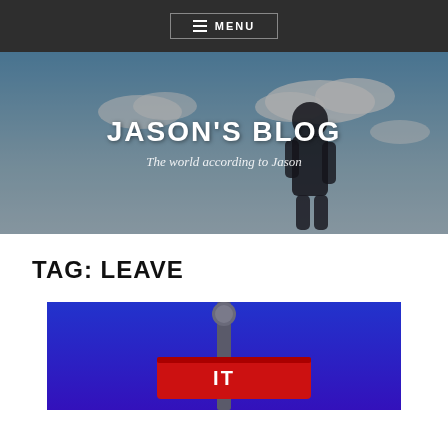≡ MENU
JASON'S BLOG
The world according to Jason
TAG: LEAVE
[Figure (photo): A street sign post with a red sign in front of a bright blue sky background]